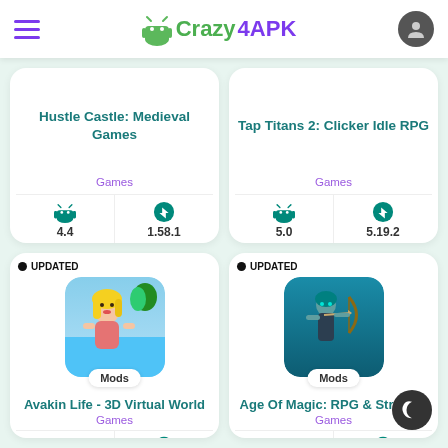Crazy4APK
Hustle Castle: Medieval Games
Games
4.4 | 1.58.1
Tap Titans 2: Clicker Idle RPG
Games
5.0 | 5.19.2
[Figure (screenshot): UPDATED badge and game icon for Avakin Life - 3D Virtual World with Mods badge]
Avakin Life - 3D Virtual World
Games
5.0 | 1.067.00
[Figure (screenshot): UPDATED badge and game icon for Age Of Magic: RPG & Strategy with Mods badge]
Age Of Magic: RPG & Strategy
Games
4.4 | 1.45.1